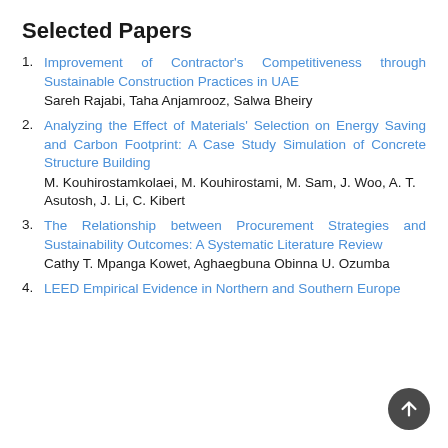Selected Papers
Improvement of Contractor’s Competitiveness through Sustainable Construction Practices in UAE
Sareh Rajabi, Taha Anjamrooz, Salwa Bheiry
Analyzing the Effect of Materials’ Selection on Energy Saving and Carbon Footprint: A Case Study Simulation of Concrete Structure Building
M. Kouhirostamkolaei, M. Kouhirostami, M. Sam, J. Woo, A. T. Asutosh, J. Li, C. Kibert
The Relationship between Procurement Strategies and Sustainability Outcomes: A Systematic Literature Review
Cathy T. Mpanga Kowet, Aghaegbuna Obinna U. Ozumba
LEED Empirical Evidence in Northern and Southern Europe